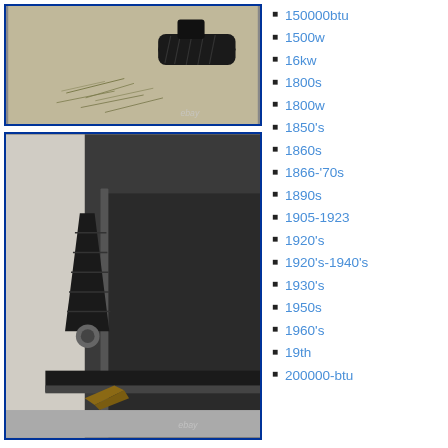[Figure (photo): Top photo: black rubber boot/grip component lying on a surface with straw/grass, eBay watermark]
[Figure (photo): Bottom photo: black rubber boot installed on a vehicle part, showing metal hardware and wood debris on ground, eBay watermark]
150000btu
1500w
16kw
1800s
1800w
1850's
1860s
1866-'70s
1890s
1905-1923
1920's
1920's-1940's
1930's
1950s
1960's
19th
200000-btu